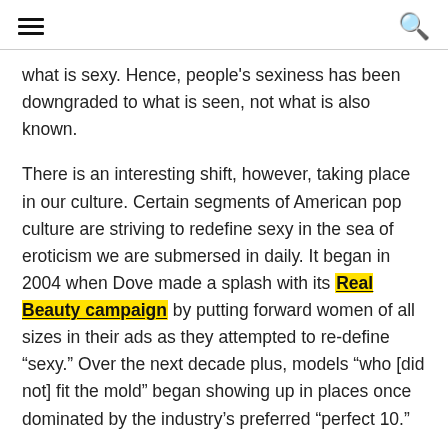[hamburger menu icon] [search icon]
what is sexy. Hence, people's sexiness has been downgraded to what is seen, not what is also known.
There is an interesting shift, however, taking place in our culture. Certain segments of American pop culture are striving to redefine sexy in the sea of eroticism we are submersed in daily. It began in 2004 when Dove made a splash with its Real Beauty campaign by putting forward women of all sizes in their ads as they attempted to re-define “sexy.” Over the next decade plus, models “who [did not] fit the mold” began showing up in places once dominated by the industry’s preferred “perfect 10.”
Overwhelming change came in 2017 according to